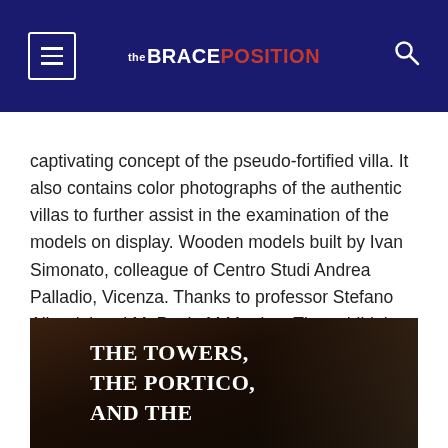the BRACEPOSITION
captivating concept of the pseudo-fortified villa. It also contains color photographs of the authentic villas to further assist in the examination of the models on display. Wooden models built by Ivan Simonato, colleague of Centro Studi Andrea Palladio, Vicenza. Thanks to professor Stefano Albertini and Mr.Paolo M.Martino. The exhibit is open Monday through Friday from 10 AM to 5 PM. You may find more information at: http://www.casaitaliananyu.org
[Figure (photo): Book cover showing text 'THE TOWERS, THE PORTICO, AND THE...' in white serif font on dark background]